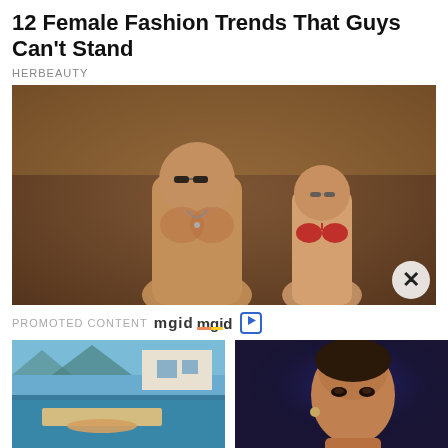12 Female Fashion Trends That Guys Can't Stand
HERBEAUTY
[Figure (photo): A muscular shirtless man with beard and sunglasses facing a slim woman in a red bikini top, against a textured wall background]
PROMOTED CONTENT mgid ▷
[Figure (photo): A person swimming in a pool with a modern house and mountains/lake in the background]
7 Ways To Perk Up Your Relationship
[Figure (photo): A woman (resembling Jennifer Lopez) with pulled-back hair looking serious against a blue/purple background]
Ben Affleck Just Dropped This Major Bombshell